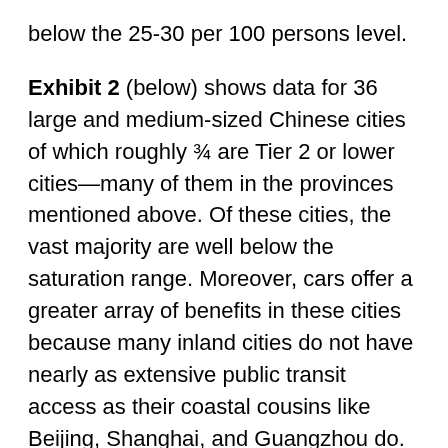below the 25-30 per 100 persons level.
Exhibit 2 (below) shows data for 36 large and medium-sized Chinese cities of which roughly ¾ are Tier 2 or lower cities—many of them in the provinces mentioned above. Of these cities, the vast majority are well below the saturation range. Moreover, cars offer a greater array of benefits in these cities because many inland cities do not have nearly as extensive public transit access as their coastal cousins like Beijing, Shanghai, and Guangzhou do.
Smaller inland cities will miss the subway construction boom currently engulfing their